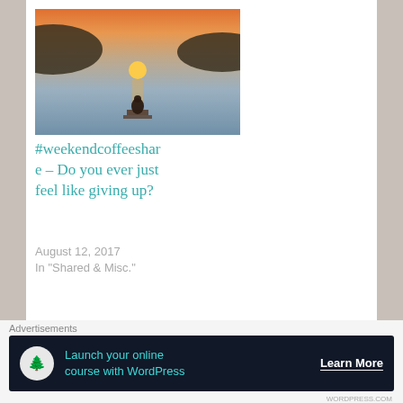[Figure (photo): Person sitting on a dock watching a sunset over calm water with silhouetted hills in the background]
#weekendcoffeeshare – Do you ever just feel like giving up?
August 12, 2017
In "Shared & Misc."
[Figure (photo): Portrait photo of a woman (author avatar)]
Published by ~M
"When the weight of the world is upon you and
Advertisements
[Figure (other): Advertisement banner: Launch your online course with WordPress – Learn More]